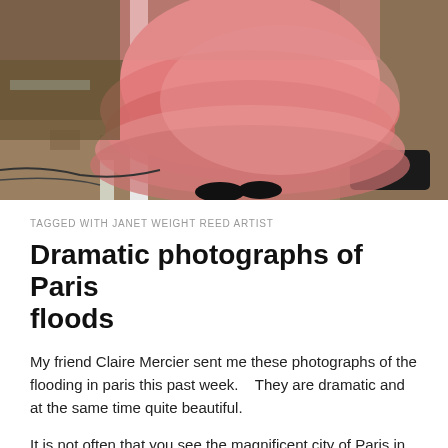[Figure (photo): A person wearing a large pink/salmon tiered tulle ballgown or dress, standing indoors on a patterned carpet with furniture and cables visible in the background, seen from the waist down.]
TAGGED WITH JANET WEIGHT REED ARTIST
Dramatic photographs of Paris floods
My friend Claire Mercier sent me these photographs of the flooding in paris this past week.    They are dramatic and at the same time quite beautiful.
It is not often that you see the magnificentcity of Paris in...